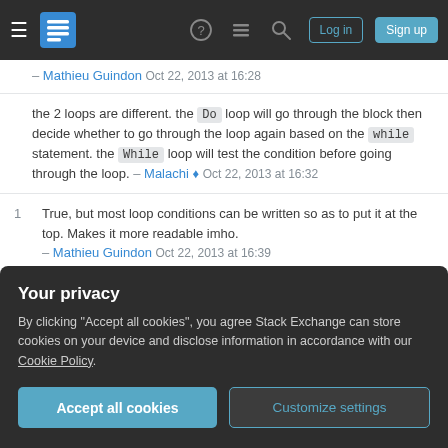Stack Exchange navigation bar with Log in and Sign up buttons
– Mathieu Guindon Oct 22, 2013 at 16:28
the 2 loops are different. the Do loop will go through the block then decide whether to go through the loop again based on the while statement. the While loop will test the condition before going through the loop. – Malachi ♦ Oct 22, 2013 at 16:32
1   True, but most loop conditions can be written so as to put it at the top. Makes it more readable imho. – Mathieu Guindon Oct 22, 2013 at 16:39
1   I agree completely. I have heard some people say that, even though you can code Do..While loops that
Your privacy
By clicking "Accept all cookies", you agree Stack Exchange can store cookies on your device and disclose information in accordance with our Cookie Policy.
Accept all cookies   Customize settings